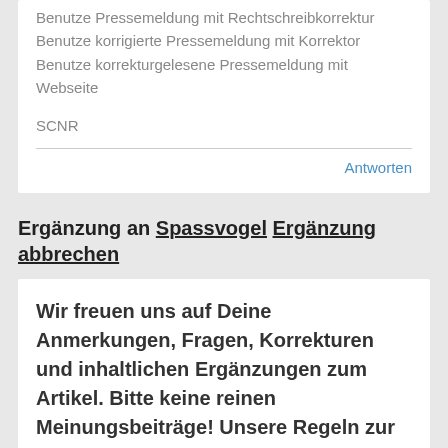Benutze Pressemeldung mit Rechtschreibkorrektur
Benutze korrigierte Pressemeldung mit Korrektor
Benutze korrekturgelesene Pressemeldung mit Webseite
SCNR
Antworten
Ergänzung an Spassvogel Ergänzung abbrechen
Wir freuen uns auf Deine Anmerkungen, Fragen, Korrekturen und inhaltlichen Ergänzungen zum Artikel. Bitte keine reinen Meinungsbeiträge! Unsere Regeln zur Veröffentlichung von Ergänzungen finden ...